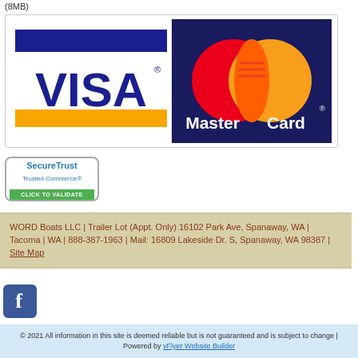(8MB)
[Figure (logo): Visa and MasterCard payment logos side by side]
[Figure (logo): SecureTrust Trusted Commerce - Click to Validate badge]
WORD Boats LLC | Trailer Lot (Appt. Only) 16102 Park Ave, Spanaway, WA | Tacoma | WA | 888-387-1963 | Mail: 16809 Lakeside Dr. S, Spanaway, WA 98387 | Site Map
[Figure (logo): Facebook logo icon]
© 2021 All information in this site is deemed reliable but is not guaranteed and is subject to change | Powered by vFlyer Website Builder